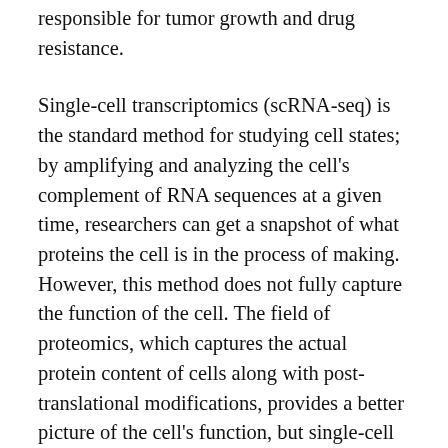responsible for tumor growth and drug resistance.
Single-cell transcriptomics (scRNA-seq) is the standard method for studying cell states; by amplifying and analyzing the cell's complement of RNA sequences at a given time, researchers can get a snapshot of what proteins the cell is in the process of making. However, this method does not fully capture the function of the cell. The field of proteomics, which captures the actual protein content of cells along with post-translational modifications, provides a better picture of the cell's function, but single-cell proteomic methods with the same sensitivity as scRNA-seq do not currently exist.